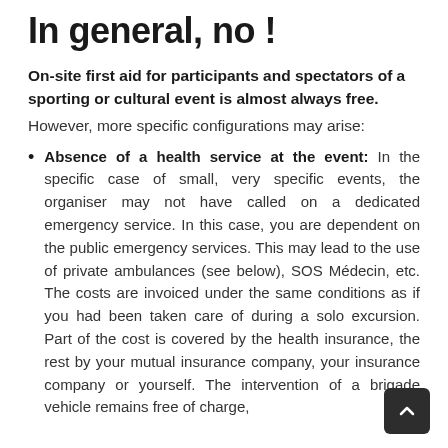In general, no !
On-site first aid for participants and spectators of a sporting or cultural event is almost always free. However, more specific configurations may arise:
Absence of a health service at the event: In the specific case of small, very specific events, the organiser may not have called on a dedicated emergency service. In this case, you are dependent on the public emergency services. This may lead to the use of private ambulances (see below), SOS Médecin, etc. The costs are invoiced under the same conditions as if you had been taken care of during a solo excursion. Part of the cost is covered by the health insurance, the rest by your mutual insurance company, your insurance company or yourself. The intervention of a brigade vehicle remains free of charge,